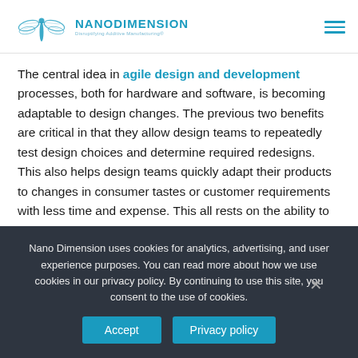Nano Dimension logo and navigation header
The central idea in agile design and development processes, both for hardware and software, is becoming adaptable to design changes. The previous two benefits are critical in that they allow design teams to repeatedly test design choices and determine required redesigns. This also helps design teams quickly adapt their products to changes in consumer tastes or customer requirements with less time and expense. This all rests on the ability to quickly evaluate and triage redesigns to complex products, a process that would normally take weeks with traditional PCB prototyping runs.
Nano Dimension uses cookies for analytics, advertising, and user experience purposes. You can read more about how we use cookies in our privacy policy. By continuing to use this site, you consent to the use of cookies.